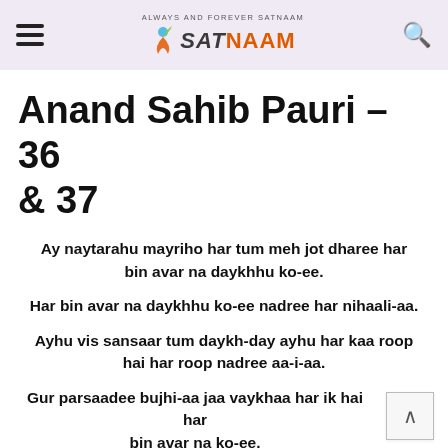ALWAYS AND FOREVER SATNAAM — SATNAAM logo with hamburger menu and search icon
Anand Sahib Pauri – 36 & 37
Ay naytarahu mayriho har tum meh jot dharee har bin avar na daykhhu ko-ee.
Har bin avar na daykhhu ko-ee nadree har nihaali-aa.
Ayhu vis sansaar tum daykh-day ayhu har kaa roop hai har roop nadree aa-i-aa.
Gur parsaadee bujhi-aa jaa vaykhaa har ik hai har bin avar na ko-ee.